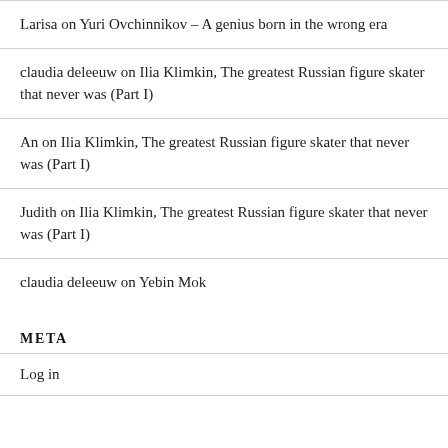Larisa on Yuri Ovchinnikov – A genius born in the wrong era
claudia deleeuw on Ilia Klimkin, The greatest Russian figure skater that never was (Part I)
An on Ilia Klimkin, The greatest Russian figure skater that never was (Part I)
Judith on Ilia Klimkin, The greatest Russian figure skater that never was (Part I)
claudia deleeuw on Yebin Mok
META
Log in